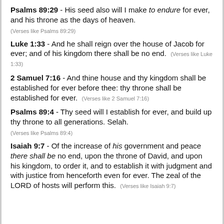Psalms 89:29 - His seed also will I make to endure for ever, and his throne as the days of heaven.
(Verses like Psalms 89:29)
Luke 1:33 - And he shall reign over the house of Jacob for ever; and of his kingdom there shall be no end. (Verses like Luke 1:33)
2 Samuel 7:16 - And thine house and thy kingdom shall be established for ever before thee: thy throne shall be established for ever. (Verses like 2 Samuel 7:16)
Psalms 89:4 - Thy seed will I establish for ever, and build up thy throne to all generations. Selah.
(Verses like Psalms 89:4)
Isaiah 9:7 - Of the increase of his government and peace there shall be no end, upon the throne of David, and upon his kingdom, to order it, and to establish it with judgment and with justice from henceforth even for ever. The zeal of the LORD of hosts will perform this. (Verses like Isaiah 9:7)